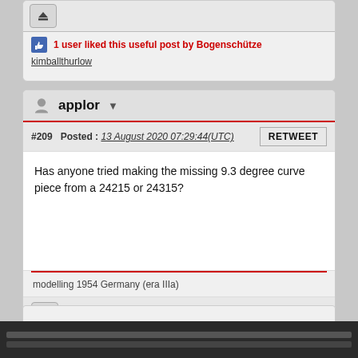1 user liked this useful post by Bogenschütze
kimballthurlow
applor
#209  Posted : 13 August 2020 07:29:44(UTC)
Has anyone tried making the missing 9.3 degree curve piece from a 24215 or 24315?
modelling 1954 Germany (era IIIa)